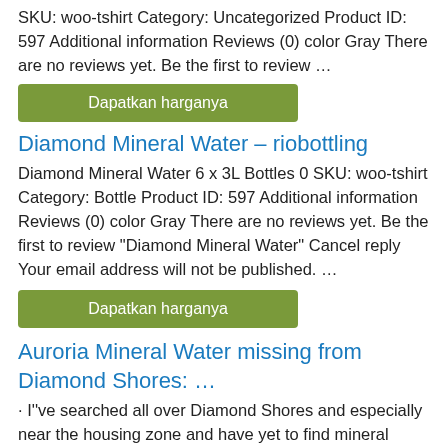SKU: woo-tshirt Category: Uncategorized Product ID: 597 Additional information Reviews (0) color Gray There are no reviews yet. Be the first to review …
Dapatkan harganya
Diamond Mineral Water – riobottling
Diamond Mineral Water 6 x 3L Bottles 0 SKU: woo-tshirt Category: Bottle Product ID: 597 Additional information Reviews (0) color Gray There are no reviews yet. Be the first to review "Diamond Mineral Water" Cancel reply Your email address will not be published. …
Dapatkan harganya
Auroria Mineral Water missing from Diamond Shores: …
· I''ve searched all over Diamond Shores and especially near the housing zone and have yet to find mineral water. If there isn''t mineral water near the housing zone, then that land becomes less valuable than the